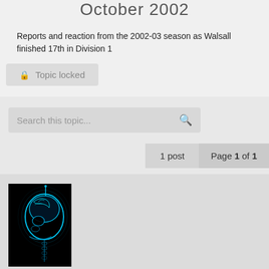October 2002
Reports and reaction from the 2002-03 season as Walsall finished 17th in Division 1
Topic locked
Search this topic...
1 post   Page 1 of 1
[Figure (photo): User avatar: X-ray style image of Homer Simpson's head profile, glowing blue on black background]
Andy
UTS Regular